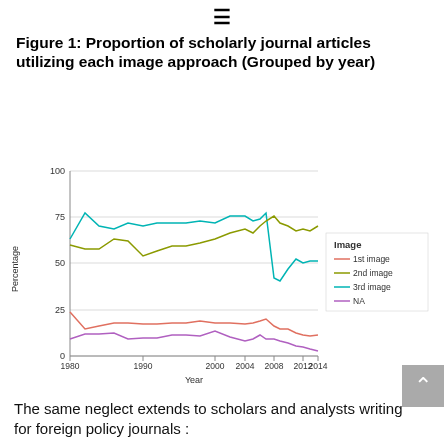Figure 1: Proportion of scholarly journal articles utilizing each image approach (Grouped by year)
[Figure (line-chart): ]
The same neglect extends to scholars and analysts writing for foreign policy journals :